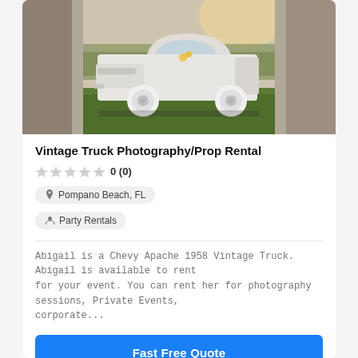[Figure (photo): A white vintage 1958 Chevy Apache pickup truck with white wall tires, decorated with flowers, parked on green grass. The center of the image is sharp; the left and right edges are blurred/darkened. Sunlight in background.]
Vintage Truck Photography/Prop Rental
0 (0)
Pompano Beach, FL
Party Rentals
Abigail is a Chevy Apache 1958 Vintage Truck. Abigail is available to rent for your event. You can rent her for photography sessions, Private Events, corporate...
Fast Free Quote